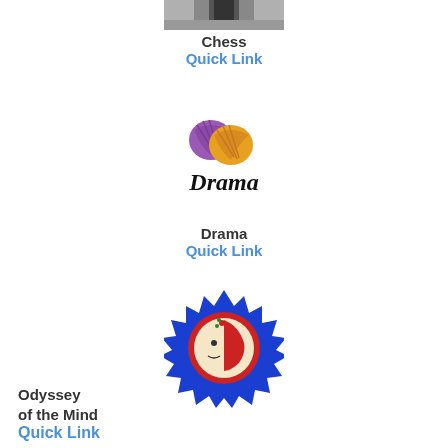[Figure (photo): Partial photo of a chess piece or chess board scene (bottom portion visible)]
Chess
Quick Link
[Figure (logo): Drama club logo with yarn balls and stylized 'Drama' text]
Drama
Quick Link
[Figure (logo): Odyssey of the Mind logo: circular emblem with blue spiky border and red/cream face design]
Odyssey of the Mind
Quick Link